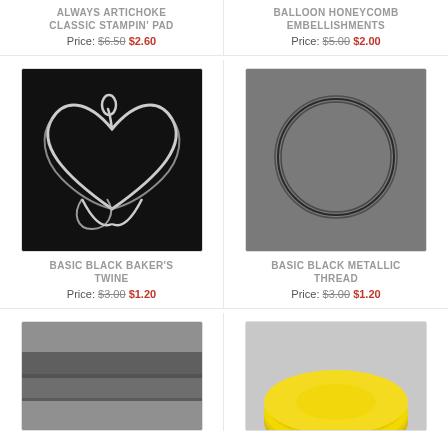ALWAYS ARTICHOKE CLASSIC STAMPIN' PAD
Price: $6.50 $2.60
BALLOON HONEYCOMB EMBELLISHMENTS
Price: $5.00 $2.00
[Figure (photo): Silver twisted twine arranged in a heart shape on a black background]
[Figure (photo): Black metallic thread arranged in a circle on a gray background]
BASIC BLACK BAKER'S TWINE
Price: $3.00 $1.20
BASIC BLACK METALLIC THREAD
Price: $3.00 $1.20
[Figure (photo): Dark gray ribbon partially visible at bottom of page]
[Figure (photo): Yellow tape roll partially visible at bottom of page]